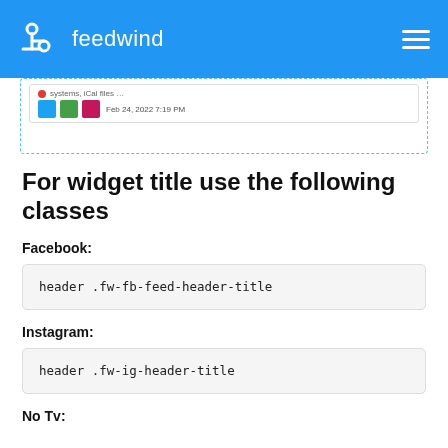feedwind
[Figure (screenshot): Screenshot of a widget with social share buttons (Twitter, email, print) and a date Feb 24, 2022 7:19 PM]
For widget title use the following classes
Facebook:
header .fw-fb-feed-header-title
Instagram:
header .fw-ig-header-title
No Tv: